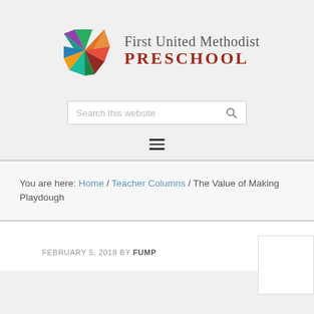[Figure (logo): First United Methodist Preschool logo: colorful pinwheel/star shape made of colored triangles in red, green, teal, purple, gold, and other colors, alongside text 'First United Methodist PRESCHOOL']
Search this website
[Figure (other): Hamburger menu icon — three horizontal lines]
You are here: Home / Teacher Columns / The Value of Making Playdough
FEBRUARY 5, 2018 BY FUMP